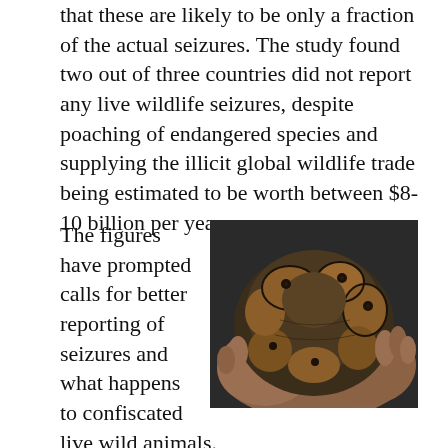that these are likely to be only a fraction of the actual seizures. The study found two out of three countries did not report any live wildlife seizures, despite poaching of endangered species and supplying the illicit global wildlife trade being estimated to be worth between $8-10 billion per year.
[Figure (photo): A coiled ball python snake being held in human hands, viewed from above. The snake has a brown and black pattern.]
The figures have prompted calls for better reporting of seizures and what happens to confiscated live wild animals.